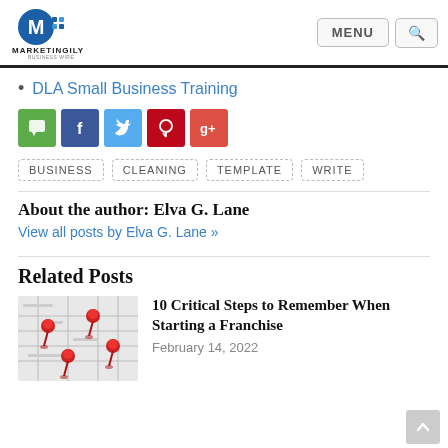MARKETINGILY - MENU [search]
DLA Small Business Training
[Figure (infographic): Social share buttons: chat (green), Facebook (blue), Twitter (light blue), Pinterest (red), Google+ (coral red)]
BUSINESS  CLEANING  TEMPLATE  WRITE
About the author: Elva G. Lane
View all posts by Elva G. Lane »
Related Posts
[Figure (photo): Photo of a map with red pushpins/thumbtacks on it]
10 Critical Steps to Remember When Starting a Franchise
February 14, 2022